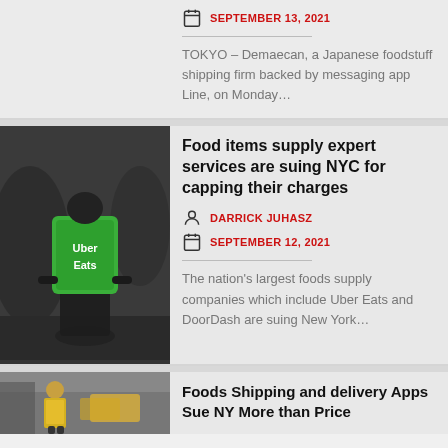SEPTEMBER 13, 2021
TOKYO – Demaecan, a Japanese foodstuff shipping firm backed by messaging app Line, on Monday…
Food items supply expert services are suing NYC for capping their charges
DARRICK JUHASZ
SEPTEMBER 12, 2021
The nation's largest foods supply companies which include Uber Eats and DoorDash are suing New York…
[Figure (photo): Person on bicycle with Uber Eats green delivery backpack]
Foods Shipping and delivery Apps Sue NY More than Price
[Figure (photo): Street scene with person in yellow vest and taxi]